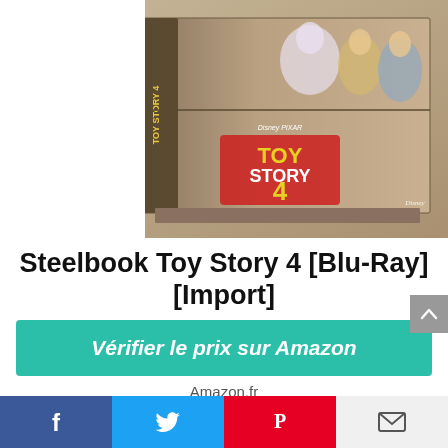[Figure (photo): Product photo of Steelbook Toy Story 4 Blu-Ray box showing Buzz Lightyear, Woody, and Bo Peep on the cover with Disney Pixar Toy Story 4 logo]
Steelbook Toy Story 4 [Blu-Ray] [Import]
Vérifier le prix sur Amazon
Amazon.fr